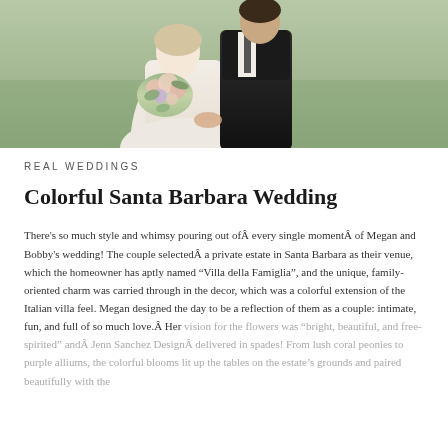[Figure (photo): Wedding couple holding hands outdoors on green grass. Bride in white dress holding a floral bouquet with greenery, groom in black suit. Cropped photo showing torsos and hands.]
REAL WEDDINGS
Colorful Santa Barbara Wedding
There's so much style and whimsy pouring out ofÂ every single momentÂ of Megan and Bobby's wedding! The couple selectedÂ a private estate in Santa Barbara as their venue, which the homeowner has aptly named “Villa della Famiglia”, and the unique, family-oriented charm was carried through in the decor, which was a colorful extension of the Italian villa feel. Megan designed the day to be a reflection of them as a couple: intimate, fun, and full of so much love.Â Her vision for the flowers was “bright, beautiful, and free-spirited” andÂ Jenn Sanchez DesignÂ delivered in spades! From lush coral peonies to purple alliums, the colorful blooms lit up the tables on the estate’s grounds and paired beautifully with the